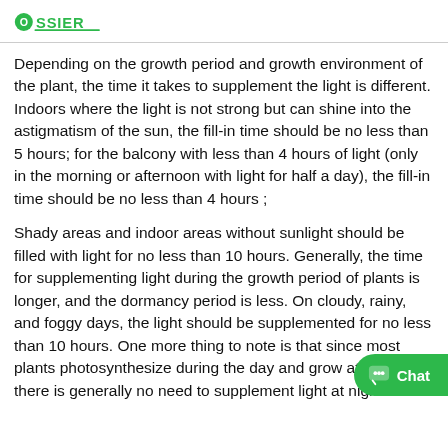OSSIER (logo)
Depending on the growth period and growth environment of the plant, the time it takes to supplement the light is different. Indoors where the light is not strong but can shine into the astigmatism of the sun, the fill-in time should be no less than 5 hours; for the balcony with less than 4 hours of light (only in the morning or afternoon with light for half a day), the fill-in time should be no less than 4 hours ;
Shady areas and indoor areas without sunlight should be filled with light for no less than 10 hours. Generally, the time for supplementing light during the growth period of plants is longer, and the dormancy period is less. On cloudy, rainy, and foggy days, the light should be supplemented for no less than 10 hours. One more thing to note is that since most plants photosynthesize during the day and grow at night, there is generally no need to supplement light at night.